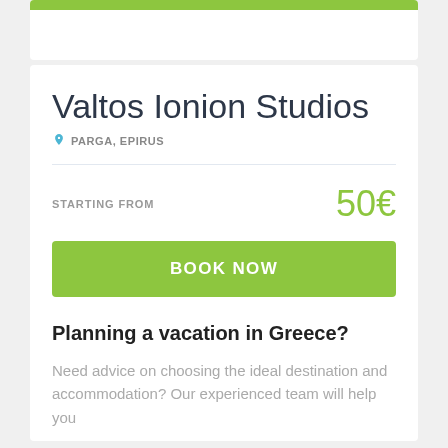[Figure (other): Green bar at top of first card]
Valtos Ionion Studios
PARGA, EPIRUS
STARTING FROM
50€
BOOK NOW
Planning a vacation in Greece?
Need advice on choosing the ideal destination and accommodation? Our experienced team will help you